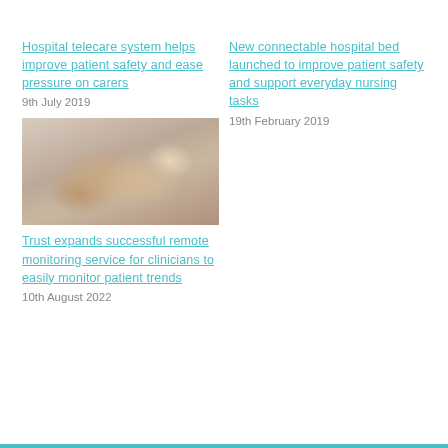Hospital telecare system helps improve patient safety and ease pressure on carers
9th July 2019
New connectable hospital bed launched to improve patient safety and support everyday nursing tasks
19th February 2019
[Figure (photo): Close-up photo of hands, possibly a medical professional handling a device or instrument]
Trust expands successful remote monitoring service for clinicians to easily monitor patient trends
10th August 2022